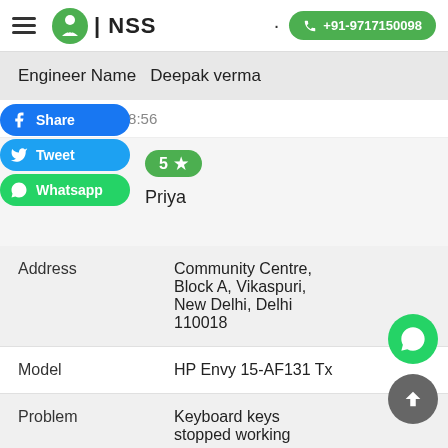NSS | +91-9717150098
Engineer Name  Deepak verma
2022-04-19 17:28:56
5 ★
Priya
| Field | Value |
| --- | --- |
| Address | Community Centre, Block A, Vikaspuri, New Delhi, Delhi 110018 |
| Model | HP Envy 15-AF131 Tx |
| Problem | Keyboard keys stopped working |